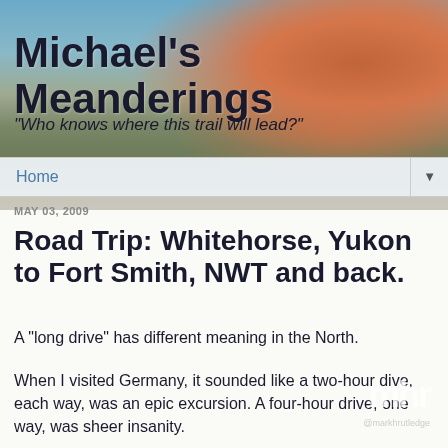[Figure (photo): Blog header with scenic mountain/tundra landscape and man in orange hooded jacket viewed from side/behind]
Michael's Meanderings
"Who knows where this trail will lead?"
Home
MAY 03, 2009
Road Trip: Whitehorse, Yukon to Fort Smith, NWT and back.
A "long drive" has different meaning in the North.
When I visited Germany, it sounded like a two-hour dive, each way, was an epic excursion. A four-hour drive, one way, was sheer insanity.
When I lived in Ontario, a two-hour drive, each way, was a big day trip. A five-hour drive, one way, was a long haul.